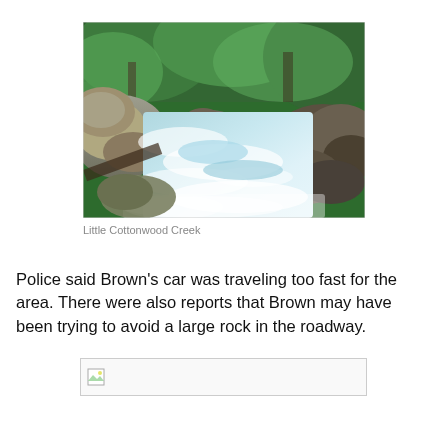[Figure (photo): A rushing creek or river with white water flowing over and around large rocks, surrounded by green trees and shrubs. This is Little Cottonwood Creek.]
Little Cottonwood Creek
Police said Brown's car was traveling too fast for the area. There were also reports that Brown may have been trying to avoid a large rock in the roadway.
[Figure (photo): Broken/missing image placeholder with small icon in upper left corner.]